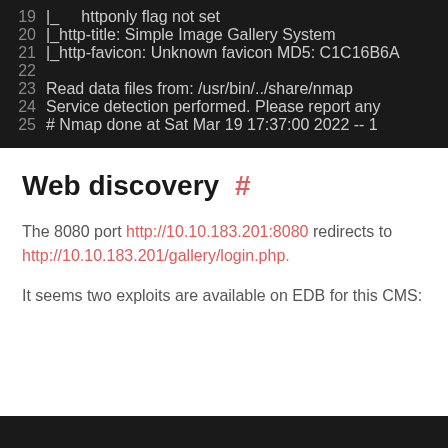[Figure (screenshot): Terminal/code block showing nmap output lines 19-25 on dark background. Line 19: |_  httponly flag not set. Line 20: |_http-title: Simple Image Gallery System. Line 21: |_http-favicon: Unknown favicon MD5: C1C16B6A... Line 22: (empty). Line 23: Read data files from: /usr/bin/../share/nmap. Line 24: Service detection performed. Please report any. Line 25: # Nmap done at Sat Mar 19 17:37:00 2022 -- 1]
Web discovery #
The 8080 port http://10.10.183.201:8080 redirects to http://10.10.183.201/gallery/login.php.
It seems two exploits are available on EDB for this CMS:
[Figure (screenshot): Bottom dark terminal/code block (partial, cropped)]